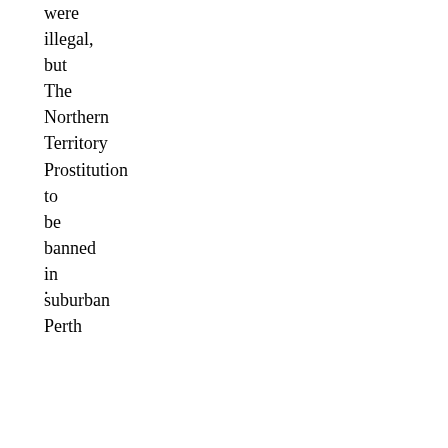were illegal, but The Northern Territory Prostitution to be banned in suburban Perth
.